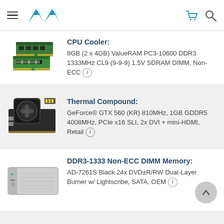AVA store header with navigation, cart, and search icons
CPU Cooler: 8GB (2 x 4GB) ValueRAM PC3-10600 DDR3 1333MHz CL9 (9-9-9) 1.5V SDRAM DIMM, Non-ECC
Thermal Compound: GeForce® GTX 560 (KR) 810MHz, 1GB GDDR5 4008MHz, PCIe x16 SLI, 2x DVI + mini-HDMI, Retail
DDR3-1333 Non-ECC DIMM Memory: AD-7261S Black 24x DVD±R/RW Dual-Layer Burner w/ Lightscribe, SATA, OEM